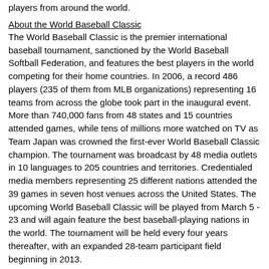players from around the world.
About the World Baseball Classic
The World Baseball Classic is the premier international baseball tournament, sanctioned by the World Baseball Softball Federation, and features the best players in the world competing for their home countries. In 2006, a record 486 players (235 of them from MLB organizations) representing 16 teams from across the globe took part in the inaugural event. More than 740,000 fans from 48 states and 15 countries attended games, while tens of millions more watched on TV as Team Japan was crowned the first-ever World Baseball Classic champion. The tournament was broadcast by 48 media outlets in 10 languages to 205 countries and territories. Credentialed media members representing 25 different nations attended the 39 games in seven host venues across the United States. The upcoming World Baseball Classic will be played from March 5 - 23 and will again feature the best baseball-playing nations in the world. The tournament will be held every four years thereafter, with an expanded 28-team participant field beginning in 2013.
This story was not subject to the approval of Major League Baseball or its clubs.
print this page
e-mail this page
RSS feeds
post on facebook
fan comments
Sphere Related Articles & Blogs
MLB.com Comments
Write a Comment!
[Figure (illustration): Advertisement box with a play button icon and an image of George Washington on a dollar bill]